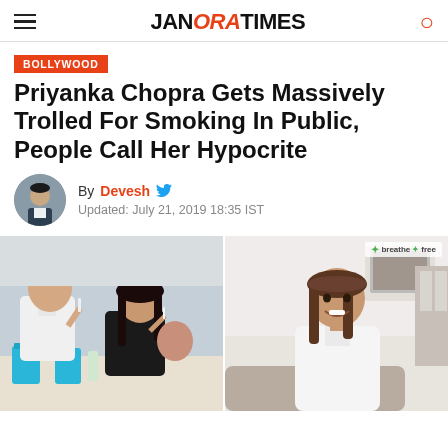JANORA TIMES
BOLLYWOOD
Priyanka Chopra Gets Massively Trolled For Smoking In Public, People Call Her Hypocrite
By Devesh  Updated: July 21, 2019 18:35 IST
[Figure (photo): Left: A man and woman (Nick Jonas and Priyanka Chopra) seated outdoors at a table with blue cups, woman appears to be smoking. Right: A woman (Priyanka Chopra) smiling in a white outfit in an indoor setting with a 'breathe free' watermark.]